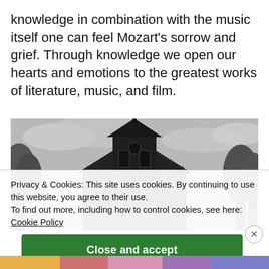knowledge in combination with the music itself one can feel Mozart's sorrow and grief. Through knowledge we open our hearts and emotions to the greatest works of literature, music, and film.
[Figure (photo): Black and white photograph of a dark, gothic Victorian house (similar to the Psycho house) with a cloudy sky and trees in the background.]
Privacy & Cookies: This site uses cookies. By continuing to use this website, you agree to their use.
To find out more, including how to control cookies, see here:
Cookie Policy
Close and accept